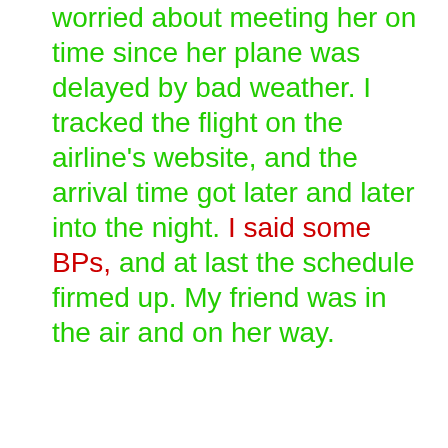worried about meeting her on time since her plane was delayed by bad weather. I tracked the flight on the airline's website, and the arrival time got later and later into the night. I said some BPs, and at last the schedule firmed up. My friend was in the air and on her way.